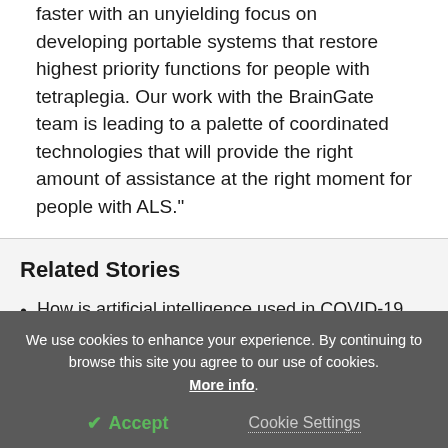faster with an unyielding focus on developing portable systems that restore highest priority functions for people with tetraplegia. Our work with the BrainGate team is leading to a palette of coordinated technologies that will provide the right amount of assistance at the right moment for people with ALS."
Related Stories
How is artificial intelligence used in COVID-19 research?
We use cookies to enhance your experience. By continuing to browse this site you agree to our use of cookies. More info.
✓ Accept   Cookie Settings